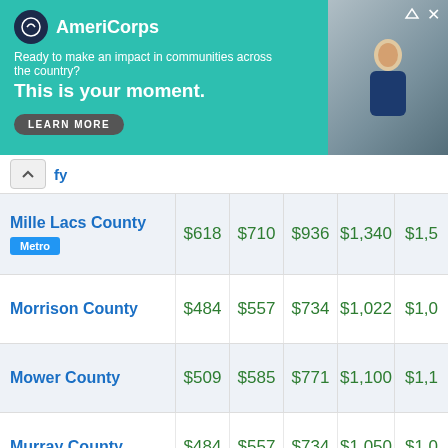[Figure (infographic): AmeriCorps advertisement banner with teal background. Shows AmeriCorps logo, text 'Ready to make an impact in communities across the country? This is your moment.' with a LEARN MORE button and a photo of a person.]
| County | Col1 | Col2 | Col3 | Col4 | Col5 |
| --- | --- | --- | --- | --- | --- |
| Mille Lacs County [Metro] | $618 | $710 | $936 | $1,340 | $1,5… |
| Morrison County | $484 | $557 | $734 | $1,022 | $1,0… |
| Mower County | $509 | $585 | $771 | $1,100 | $1,1… |
| Murray County | $484 | $557 | $734 | $1,050 | $1,0… |
| Nicollet County | $646 | $732 | $961 | $1,345 | $1,6… |